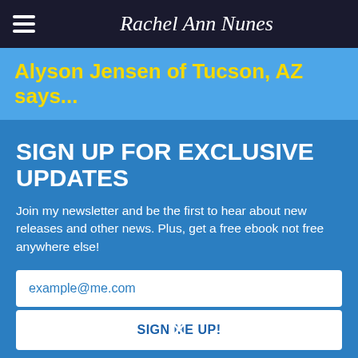Rachel Ann Nunes
Alyson Jensen of Tucson, AZ says...
SIGN UP FOR EXCLUSIVE UPDATES
Join my newsletter and be the first to hear about new releases and other news. Plus, get a free ebook not free anywhere else!
example@me.com
SIGN ME UP!
✕